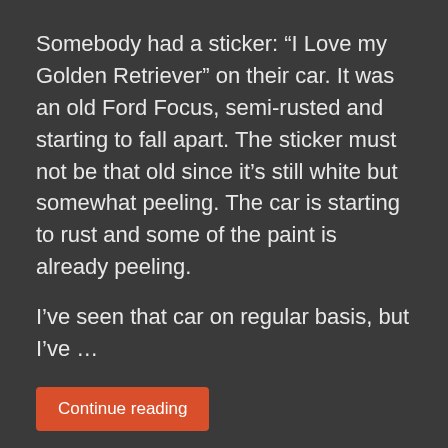Somebody had a sticker: “I Love my Golden Retriever” on their car. It was an old Ford Focus, semi-rusted and starting to fall apart. The sticker must not be that old since it’s still white but somewhat peeling. The car is starting to rust and some of the paint is already peeling.
I’ve seen that car on regular basis, but I’ve …
Continue reading
Danger — Keep Off: